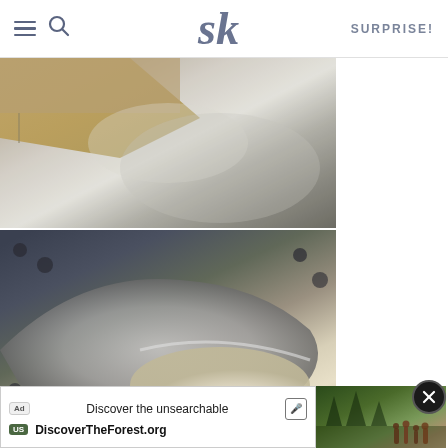SK — SURPRISE!
[Figure (photo): Close-up photo of something being poured into or from a metallic pot or pan, with a cardboard box visible in the upper left corner. Metallic silver tones dominate.]
[Figure (photo): Close-up macro photo of a measuring spoon scooping fine white powder or granules, with dark background showing small round pellets or balls.]
[Figure (photo): Advertisement banner showing people hiking in a forest, promoting DiscoverTheForest.org. Includes 'Discover the unsearchable' text, Ad badge, mic icon, and NPS badge.]